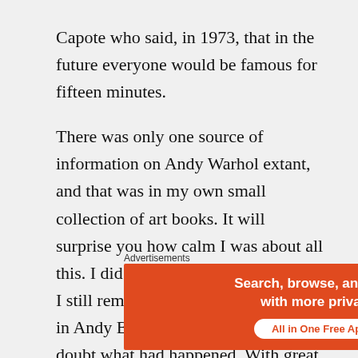Capote who said, in 1973, that in the future everyone would be famous for fifteen minutes.
There was only one source of information on Andy Warhol extant, and that was in my own small collection of art books. It will surprise you how calm I was about all this. I did not doubt my sanity, and as I still remembered my little scribble in Andy Browne’s notebook, I didn’t doubt what had happened. With great equanimity, I accepted that I had access to a supernatural power of some kind.
It’s amazing, when this actually happens, how
Advertisements
[Figure (other): DuckDuckGo advertisement banner: orange left panel with text 'Search, browse, and email with more privacy. All in One Free App' and dark right panel with DuckDuckGo duck logo and brand name.]